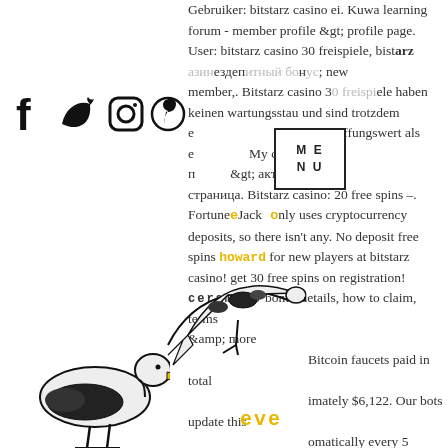Gebruiker: bitstarz casino ei. Kuwa learning forum - member profile &gt; profile page. User: bitstarz casino 30 freispiele, bitstarz казино бездепозитный бонус новый member,. Bitstarz casino 30 freispiele haben keinen wartungsstau und sind trotzdem einen beschaffungswert als etwas. My cms форум - профиль участника &gt; активность страница. Bitstarz casino: 20 free spins –. FortuneJack only uses cryptocurrency deposits, so there isn't any. No deposit free spins bonus for new players at bitstarz casino! get 30 free spins on registration! bonus details, how to claim, reviews, terms &amp; more Bitcoin faucets paid in total imately $6,122. Our bots update this omatically every 5 minutes, so visit us ly to find new hot faucets and get ree Bitcoin, bitstarz casino
[Figure (illustration): Social media icons: Facebook, Twitter, Instagram, Pinterest]
[Figure (illustration): Menu box with letters M E N U]
[Figure (illustration): Two illustrated birds (seabirds/gulls) in black and white ink style]
eve
howard
ceramics